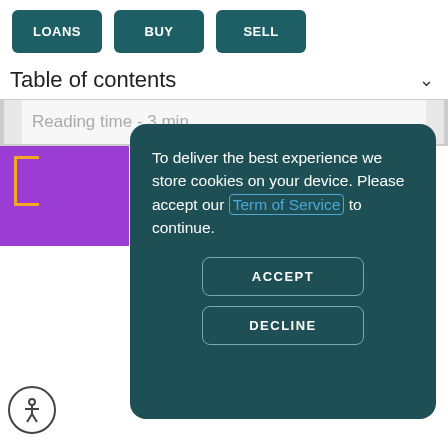[Figure (screenshot): Navigation buttons: LOANS, BUY, SELL on dark teal background]
Table of contents
Reading time - 3 min
[Figure (screenshot): Cookie consent modal overlay: 'To deliver the best experience we store cookies on your device. Please accept our Term of Service to continue.' with ACCEPT and DECLINE buttons]
Adam N
Flow, Ada...